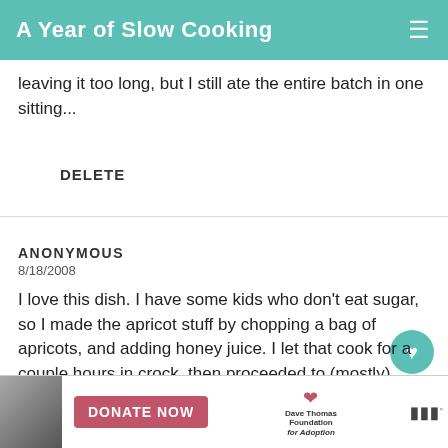A Year of Slow Cooking
leaving it too long, but I still ate the entire batch in one sitting...
DELETE
ANONYMOUS
8/18/2008
I love this dish. I have some kids who don't eat sugar, so I made the apricot stuff by chopping a bag of apricots, and adding honey juice. I let that cook for a couple hours in crock, then proceeded to (mostly) follow your recipe. I like that your recipes are easy for me
[Figure (screenshot): WHAT'S NEXT arrow with Best Slow Cooker... thumbnail]
[Figure (infographic): Advertisement banner: person photo, DONATE NOW button, Dave Thomas Foundation for Adoption logo]